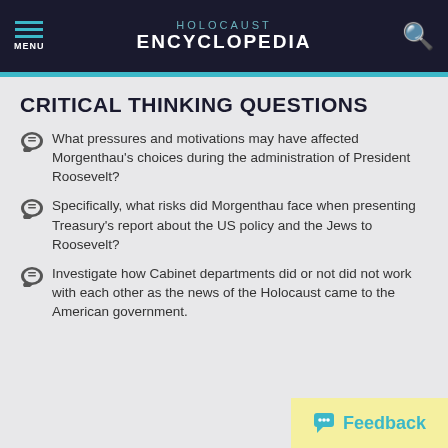HOLOCAUST ENCYCLOPEDIA
CRITICAL THINKING QUESTIONS
What pressures and motivations may have affected Morgenthau's choices during the administration of President Roosevelt?
Specifically, what risks did Morgenthau face when presenting Treasury's report about the US policy and the Jews to Roosevelt?
Investigate how Cabinet departments did or not did not work with each other as the news of the Holocaust came to the American government.
Feedback